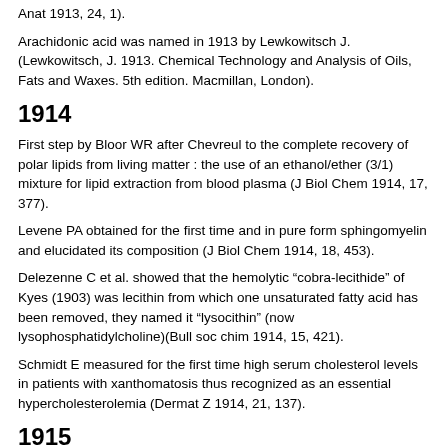Anat 1913, 24, 1).
Arachidonic acid was named in 1913 by Lewkowitsch J. (Lewkowitsch, J. 1913. Chemical Technology and Analysis of Oils, Fats and Waxes. 5th edition. Macmillan, London).
1914
First step by Bloor WR after Chevreul to the complete recovery of polar lipids from living matter : the use of an ethanol/ether (3/1) mixture for lipid extraction from blood plasma (J Biol Chem 1914, 17, 377).
Levene PA obtained for the first time and in pure form sphingomyelin and elucidated its composition (J Biol Chem 1914, 18, 453).
Delezenne C et al. showed that the hemolytic “cobra-lecithide” of Kyes (1903) was lecithin from which one unsaturated fatty acid has been removed, they named it “lysocithin” (now lysophosphatidylcholine)(Bull soc chim 1914, 15, 421).
Schmidt E measured for the first time high serum cholesterol levels in patients with xanthomatosis thus recognized as an essential hypercholesterolemia (Dermat Z 1914, 21, 137).
1915
Willstätter RM received the Nobel Prize for chemistry “for his researches on plant pigments, especially chlorophyll”.